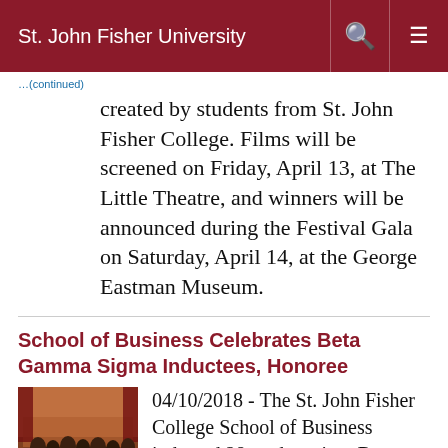St. John Fisher University
created by students from St. John Fisher College. Films will be screened on Friday, April 13, at The Little Theatre, and winners will be announced during the Festival Gala on Saturday, April 14, at the George Eastman Museum.
School of Business Celebrates Beta Gamma Sigma Inductees, Honoree
04/10/2018 - The St. John Fisher College School of Business inducted 28 students into Beta Gamma Sigma (BGS), the international honor society